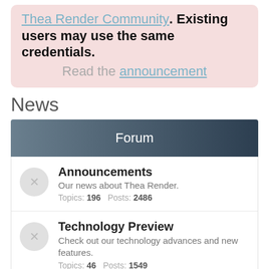Thea Render Community. Existing users may use the same credentials. Read the announcement
News
Forum
Announcements — Our news about Thea Render. Topics: 196  Posts: 2486
Technology Preview — Check out our technology advances and new features. Topics: 46  Posts: 1549
Contests / Benchmarks / Polls — A forum especially for contests and Hall of Fame.